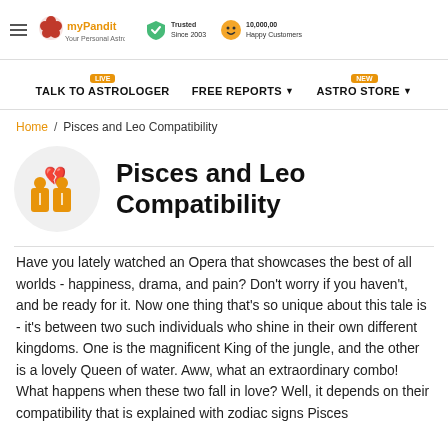MyPandit - Your Personal Astrologer | Trusted Since 2003 | 10,000,00 Happy Customers
TALK TO ASTROLOGER LIVE | FREE REPORTS | ASTRO STORE NEW
Home / Pisces and Leo Compatibility
Pisces and Leo Compatibility
Have you lately watched an Opera that showcases the best of all worlds - happiness, drama, and pain? Don't worry if you haven't, and be ready for it. Now one thing that's so unique about this tale is - it's between two such individuals who shine in their own different kingdoms. One is the magnificent King of the jungle, and the other is a lovely Queen of water. Aww, what an extraordinary combo! What happens when these two fall in love? Well, it depends on their compatibility that is explained with zodiac signs Pisces